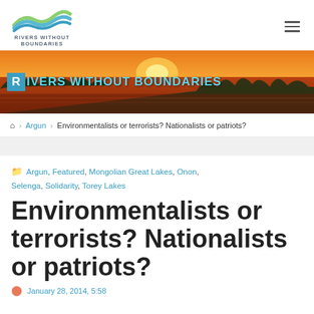[Figure (logo): Rivers Without Boundaries logo with wave-shaped design in green and blue, with text RIVERS WITHOUT BOUNDARIES below]
[Figure (photo): Hero banner photograph of a sunset over a lake with forest silhouette, overlaid with text RIVERS WITHOUT BOUNDARIES with an R in a blue box]
🏠 > Argun > Environmentalists or terrorists? Nationalists or patriots?
Argun, Featured, Mongolian Great Lakes, Onon, Selenga, Solidarity, Torey Lakes
Environmentalists or terrorists? Nationalists or patriots?